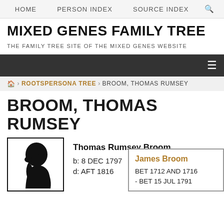HOME   PERSON INDEX   SOURCE INDEX   🔍
MIXED GENES FAMILY TREE
THE FAMILY TREE SITE OF THE MIXED GENES WEBSITE
🏠 > ROOTSPERSONA TREE > BROOM, THOMAS RUMSEY
BROOM, THOMAS RUMSEY
Thomas Rumsey Broom
b: 8 DEC 1797
d: AFT 1816
James Broom
BET 1712 AND 1716 - BET 15 JUL 1791